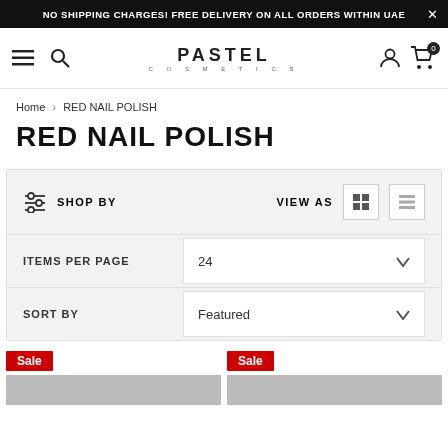NO SHIPPING CHARGES! FREE DELIVERY ON ALL ORDERS WITHIN UAE
[Figure (screenshot): Pastel Cosmetics website navigation bar with hamburger menu, search icon, PASTEL COSMETICS logo, user icon, and cart icon with 0 badge]
Home > RED NAIL POLISH
RED NAIL POLISH
SHOP BY | VIEW AS | ITEMS PER PAGE: 24 | SORT BY: Featured